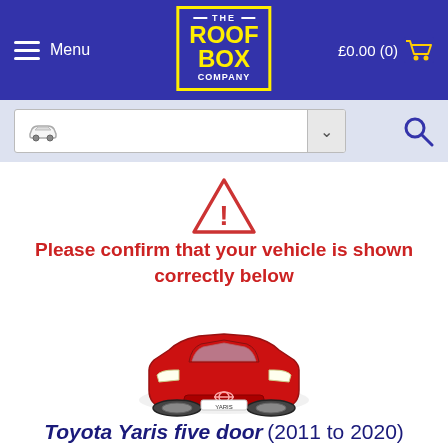Menu | THE ROOF BOX COMPANY | £0.00 (0)
[Figure (screenshot): Vehicle search input bar with car icon and dropdown arrow, and search magnifier icon]
[Figure (illustration): Red warning triangle with exclamation mark]
Please confirm that your vehicle is shown correctly below
[Figure (photo): Red Toyota Yaris five door car, front view]
Toyota Yaris five door (2011 to 2020)
[Figure (illustration): Red circle with white exclamation mark warning icon]
It's really important to select the correct vehicle, paying attention to the year of the manufacture